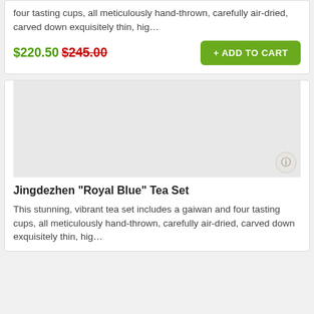four tasting cups, all meticulously hand-thrown, carefully air-dried, carved down exquisitely thin, hig…
$220.50 $245.00
+ ADD TO CART
[Figure (other): Product image placeholder area for Jingdezhen Royal Blue Tea Set]
Jingdezhen "Royal Blue" Tea Set
This stunning, vibrant tea set includes a gaiwan and four tasting cups, all meticulously hand-thrown, carefully air-dried, carved down exquisitely thin, hig…